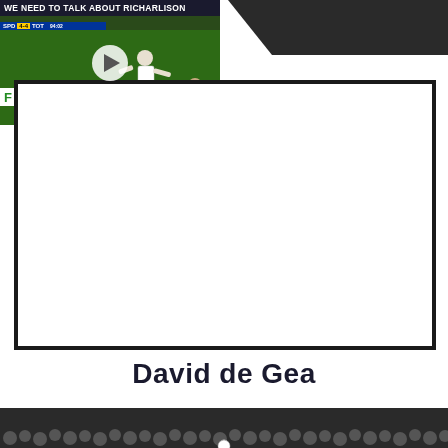[Figure (screenshot): Video thumbnail of soccer/football match with title 'We Need To Talk About Richarlison', showing a player in white Tottenham kit about to kick a ball, with another player in red shirt number 23 nearby. Green pitch visible with partial advertising board text 'FOR WOMEN'. A circular play button overlay is visible in the center.]
[Figure (screenshot): Large white rectangular video player placeholder area with thick dark border, occupying most of the page center.]
David de Gea
[Figure (photo): Bottom strip showing a crowd of football/soccer spectators in stadium stands, dark toned image.]